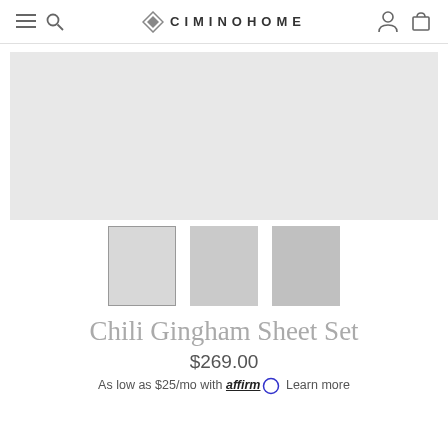CIMINOHOME navigation bar with hamburger menu, search, logo, account, and cart icons
[Figure (photo): Large light gray placeholder product image]
[Figure (photo): Three thumbnail image placeholders below main image]
Chili Gingham Sheet Set
$269.00
As low as $25/mo with affirm Learn more